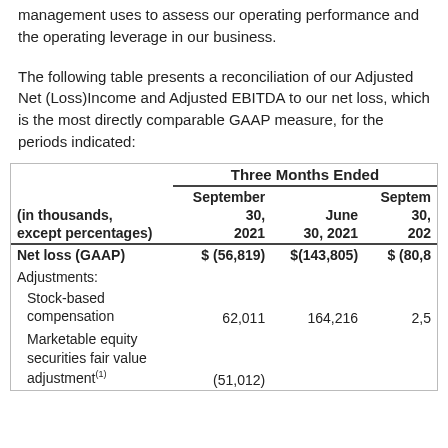management uses to assess our operating performance and the operating leverage in our business.
The following table presents a reconciliation of our Adjusted Net (Loss)Income and Adjusted EBITDA to our net loss, which is the most directly comparable GAAP measure, for the periods indicated:
| (in thousands, except percentages) | September 30, 2021 | June 30, 2021 | September 30, 2020 |
| --- | --- | --- | --- |
| Net loss (GAAP) | $ (56,819) | $(143,805) | $ (80,85... |
| Adjustments: |  |  |  |
| Stock-based compensation | 62,011 | 164,216 | 2,5... |
| Marketable equity securities fair value adjustment(1) | (51,012) |  |  |